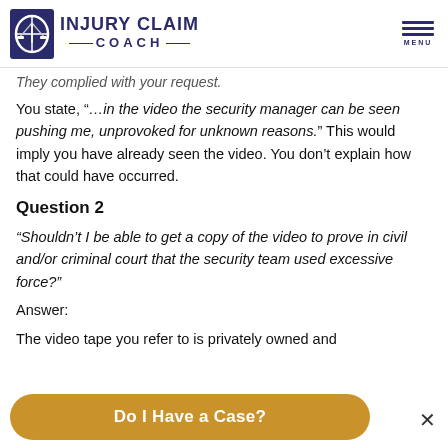INJURY CLAIM COACH
They complied with your request.
You state, “…in the video the security manager can be seen pushing me, unprovoked for unknown reasons.” This would imply you have already seen the video. You don’t explain how that could have occurred.
Question 2
“Shouldn’t I be able to get a copy of the video to prove in civil and/or criminal court that the security team used excessive force?”
Answer:
The video tape you refer to is privately owned and